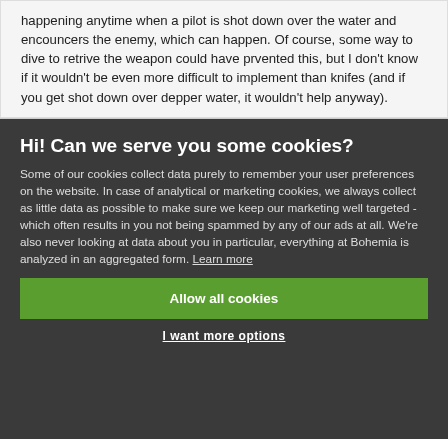happening anytime when a pilot is shot down over the water and encouncers the enemy, which can happen. Of course, some way to dive to retrive the weapon could have prvented this, but I don't know if it wouldn't be even more difficult to implement than knifes (and if you get shot down over depper water, it wouldn't help anyway).
Hi! Can we serve you some cookies?
Some of our cookies collect data purely to remember your user preferences on the website. In case of analytical or marketing cookies, we always collect as little data as possible to make sure we keep our marketing well targeted - which often results in you not being spammed by any of our ads at all. We're also never looking at data about you in particular, everything at Bohemia is analyzed in an aggregated form. Learn more
Allow all cookies
I want more options